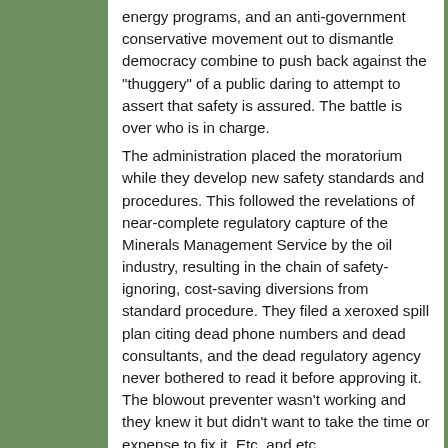energy programs, and an anti-government conservative movement out to dismantle democracy combine to push back against the "thuggery" of a public daring to attempt to assert that safety is assured. The battle is over who is in charge.
The administration placed the moratorium while they develop new safety standards and procedures. This followed the revelations of near-complete regulatory capture of the Minerals Management Service by the oil industry, resulting in the chain of safety-ignoring, cost-saving diversions from standard procedure. They filed a xeroxed spill plan citing dead phone numbers and dead consultants, and the dead regulatory agency never bothered to read it before approving it. The blowout preventer wasn't working and they knew it but didn't want to take the time or expense to fix it. Etc, and etc.
Since so much was wrong on this rig the government wants to take a look at the other rigs drilling offshore and make sure they are operating safely, and get procedures that work in place. The industry is infuriated that government is “interfering' in their profit-making